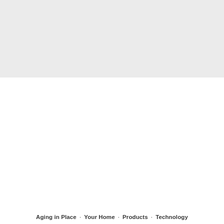[Figure (other): Light gray rectangular banner/header image placeholder occupying the top portion of the page]
Aging in Place   Your Home   Products   Technology